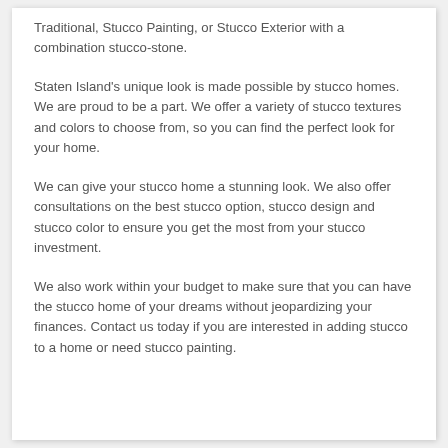Traditional, Stucco Painting, or Stucco Exterior with a combination stucco-stone.
Staten Island's unique look is made possible by stucco homes. We are proud to be a part. We offer a variety of stucco textures and colors to choose from, so you can find the perfect look for your home.
We can give your stucco home a stunning look. We also offer consultations on the best stucco option, stucco design and stucco color to ensure you get the most from your stucco investment.
We also work within your budget to make sure that you can have the stucco home of your dreams without jeopardizing your finances. Contact us today if you are interested in adding stucco to a home or need stucco painting.